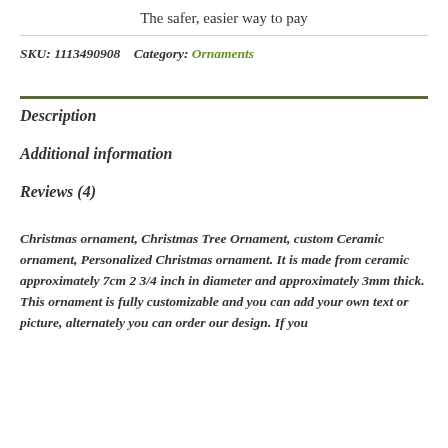The safer, easier way to pay
SKU: 1113490908    Category: Ornaments
Description
Additional information
Reviews (4)
Christmas ornament, Christmas Tree Ornament, custom Ceramic ornament, Personalized Christmas ornament. It is made from ceramic approximately 7cm 2 3/4 inch in diameter and approximately 3mm thick. This ornament is fully customizable and you can add your own text or picture, alternately you can order our design. If you